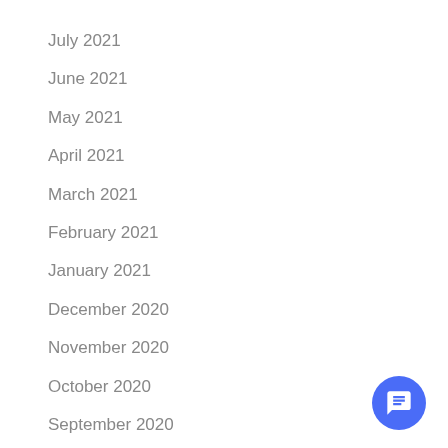July 2021
June 2021
May 2021
April 2021
March 2021
February 2021
January 2021
December 2020
November 2020
October 2020
September 2020
[Figure (other): Blue circular chat button with message icon in bottom right corner]